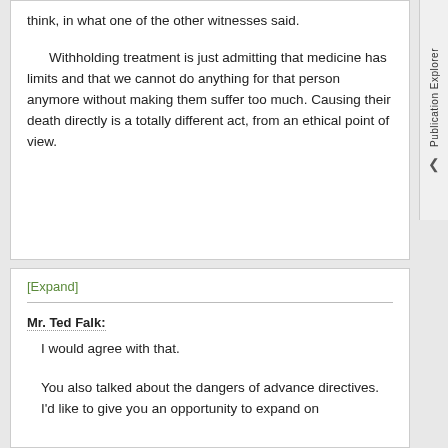think, in what one of the other witnesses said.

Withholding treatment is just admitting that medicine has limits and that we cannot do anything for that person anymore without making them suffer too much. Causing their death directly is a totally different act, from an ethical point of view.
[Expand]
Mr. Ted Falk:
I would agree with that.
You also talked about the dangers of advance directives. I'd like to give you an opportunity to expand on